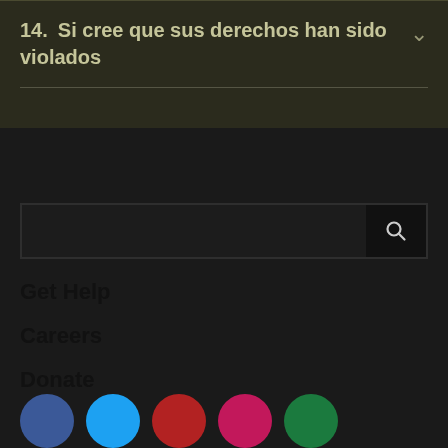14. Si cree que sus derechos han sido violados
Get Help
Careers
Donate